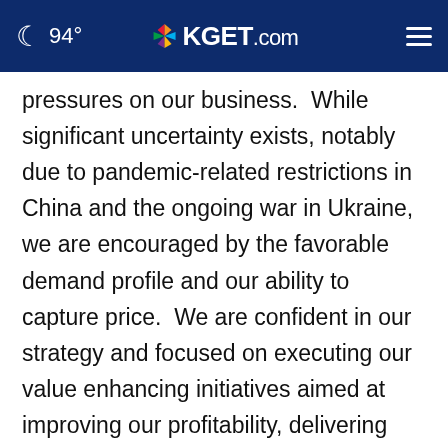🌙 94° | KGET.com
pressures on our business.  While significant uncertainty exists, notably due to pandemic-related restrictions in China and the ongoing war in Ukraine, we are encouraged by the favorable demand profile and our ability to capture price.  We are confident in our strategy and focused on executing our value enhancing initiatives aimed at improving our profitability, delivering our growth potential and generating solid
[Figure (screenshot): Advertisement banner showing Lidl logo with 'In-store shopping' text and a blue navigation arrow icon]
First Quarter 2022 Segment Results